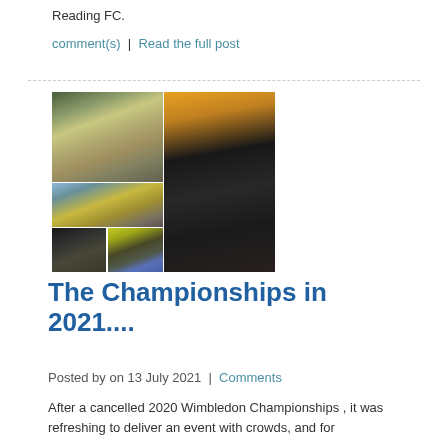Reading FC.
comment(s) | Read the full post
[Figure (photo): A collage of six photos showing security/stewarding staff in orange and yellow high-visibility vests at an outdoor event, some standing near vehicles and gates with traffic cones.]
The Championships in 2021....
Posted by on 13 July 2021 | Comments
After a cancelled 2020 Wimbledon Championships , it was refreshing to deliver an event with crowds, and for